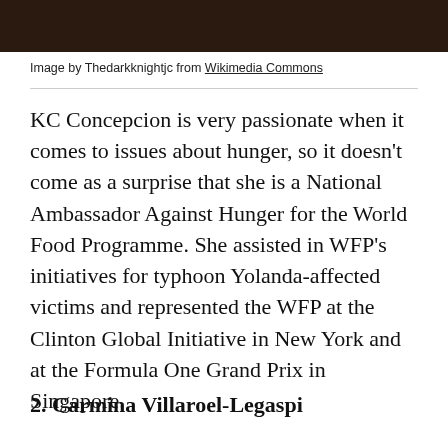[Figure (photo): Cropped photo showing portion of a person, dark background, only top strip visible]
Image by Thedarkknightjc from Wikimedia Commons
KC Concepcion is very passionate when it comes to issues about hunger, so it doesn't come as a surprise that she is a National Ambassador Against Hunger for the World Food Programme. She assisted in WFP's initiatives for typhoon Yolanda-affected victims and represented the WFP at the Clinton Global Initiative in New York and at the Formula One Grand Prix in Singapore.
2. Carmina Villaroel-Legaspi